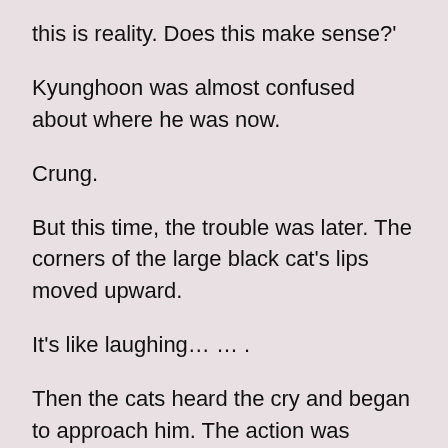this is reality. Does this make sense?'
Kyunghoon was almost confused about where he was now.
Crung.
But this time, the trouble was later. The corners of the large black cat's lips moved upward.
It's like laughing… … .
Then the cats heard the cry and began to approach him. The action was inconsistent. It was like a unit following the instructions of the